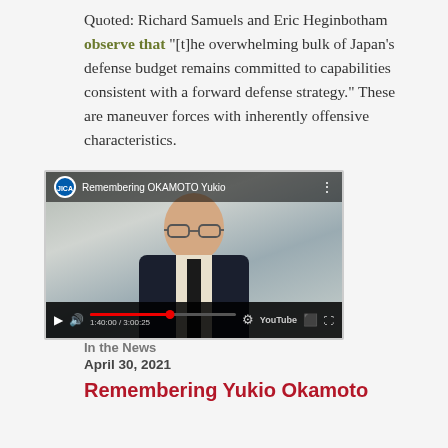Quoted: Richard Samuels and Eric Heginbotham observe that "[t]he overwhelming bulk of Japan's defense budget remains committed to capabilities consistent with a forward defense strategy." These are maneuver forces with inherently offensive characteristics.
[Figure (screenshot): YouTube video thumbnail showing a man in a dark suit with glasses, with JICA logo and title 'Remembering OKAMOTO Yukio', progress bar showing 1:40:00 / 3:00:25]
In the News
April 30, 2021
Remembering Yukio Okamoto